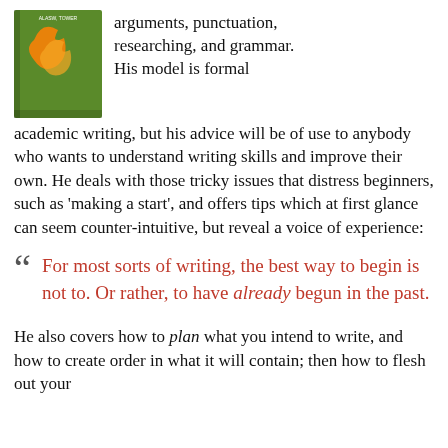[Figure (illustration): Book cover with green background and orange/flame design, small text at top]
arguments, punctuation, researching, and grammar. His model is formal academic writing, but his advice will be of use to anybody who wants to understand writing skills and improve their own. He deals with those tricky issues that distress beginners, such as 'making a start', and offers tips which at first glance can seem counter-intuitive, but reveal a voice of experience:
For most sorts of writing, the best way to begin is not to. Or rather, to have already begun in the past.
He also covers how to plan what you intend to write, and how to create order in what it will contain; then how to flesh out your